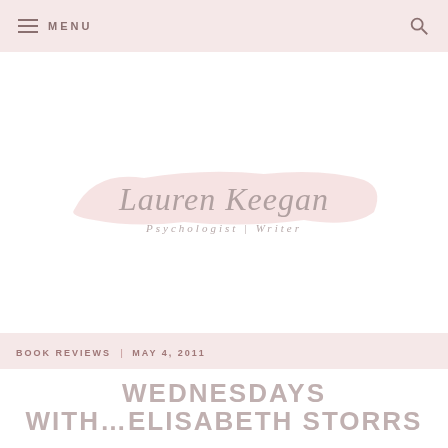MENU
[Figure (logo): Lauren Keegan logo with pink brush stroke background. Script text reads 'Lauren Keegan' with subtitle 'Psychologist | Writer']
BOOK REVIEWS  |  MAY 4, 2011
WEDNESDAYS WITH…ELISABETH STORRS